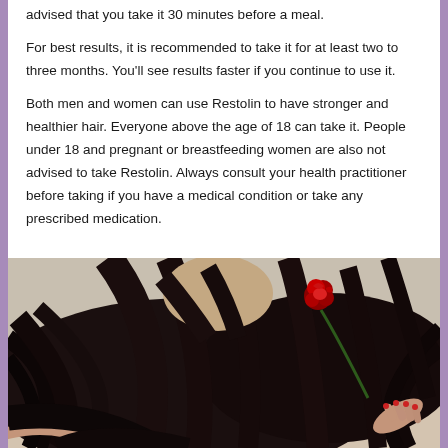advised that you take it 30 minutes before a meal.
For best results, it is recommended to take it for at least two to three months. You'll see results faster if you continue to use it.
Both men and women can use Restolin to have stronger and healthier hair. Everyone above the age of 18 can take it. People under 18 and pregnant or breastfeeding women are also not advised to take Restolin. Always consult your health practitioner before taking if you have a medical condition or take any prescribed medication.
[Figure (photo): A person lying down with long dark black hair spread out, holding a red rose. The hair is dramatic and flowing against a light background.]